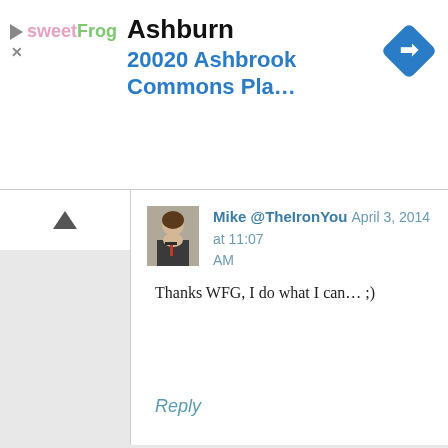[Figure (screenshot): Advertisement banner for sweetFrog frozen yogurt showing location 'Ashburn' and address '20020 Ashbrook Commons Pla...' with navigation arrow diamond icon]
Mike @TheIronYou April 3, 2014 at 11:07 AM
Thanks WFG, I do what I can... ;)
Reply
Teffy @ Sprinkle of Green April 2, 2014 at 5:55 PM
I've recently been discovering the world of cauliflower instead of actual flower, but never knew it could even be used to breadsticks! So so cool!